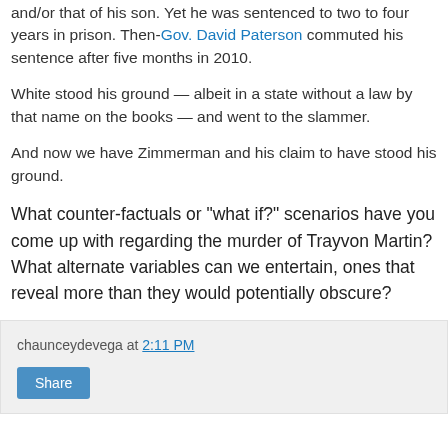and/or that of his son. Yet he was sentenced to two to four years in prison. Then-Gov. David Paterson commuted his sentence after five months in 2010.
White stood his ground — albeit in a state without a law by that name on the books — and went to the slammer.
And now we have Zimmerman and his claim to have stood his ground.
What counter-factuals or "what if?" scenarios have you come up with regarding the murder of Trayvon Martin? What alternate variables can we entertain, ones that reveal more than they would potentially obscure?
chaunceydevega at 2:11 PM
Share